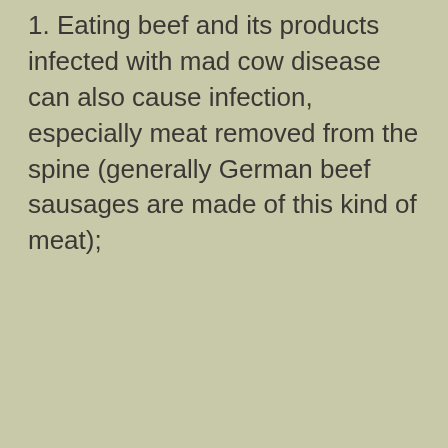1. Eating beef and its products infected with mad cow disease can also cause infection, especially meat removed from the spine (generally German beef sausages are made of this kind of meat);